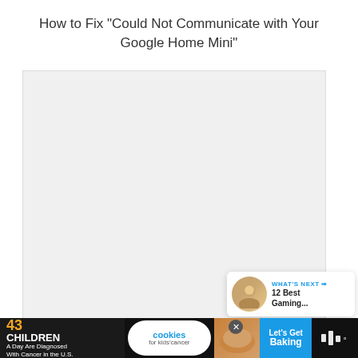How to Fix “Could Not Communicate with Your Google Home Mini”
[Figure (photo): Large image placeholder area for article about fixing Google Home Mini communication errors]
[Figure (infographic): Like button (heart icon, blue circle), count of 1, and share button]
[Figure (infographic): WHAT'S NEXT card with avatar photo and text '12 Best Gaming...']
[Figure (infographic): Advertisement banner: '43 CHILDREN A Day Are Diagnosed With Cancer in the U.S.' cookies for kids cancer, Let's Get Baking]